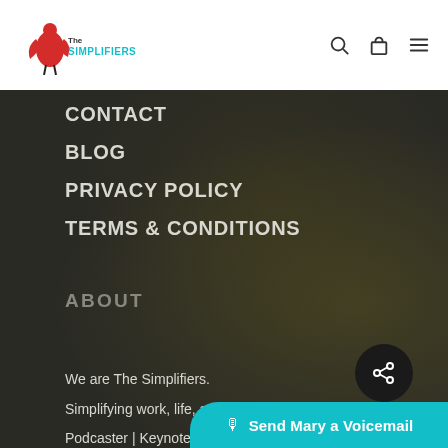The Simplifiers — navigation header with logo and search/bag/menu icons
CONTACT
BLOG
PRIVACY POLICY
TERMS & CONDITIONS
ABOUT
We are The Simplifiers.
Simplifying work, life, and everything in between.
Podcaster | Keynote Speaker | Undercover Superhero
Together, we will tra…